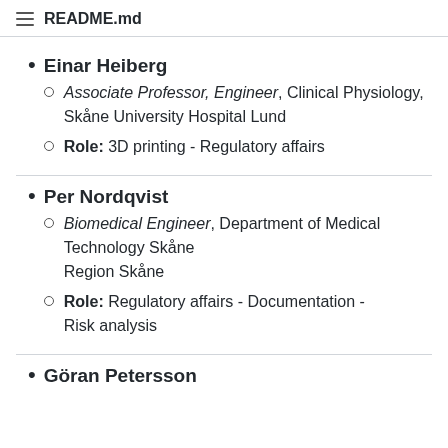README.md
Einar Heiberg
Associate Professor, Engineer, Clinical Physiology, Skåne University Hospital Lund
Role: 3D printing - Regulatory affairs
Per Nordqvist
Biomedical Engineer, Department of Medical Technology Skåne Region Skåne
Role: Regulatory affairs - Documentation - Risk analysis
Göran Petersson